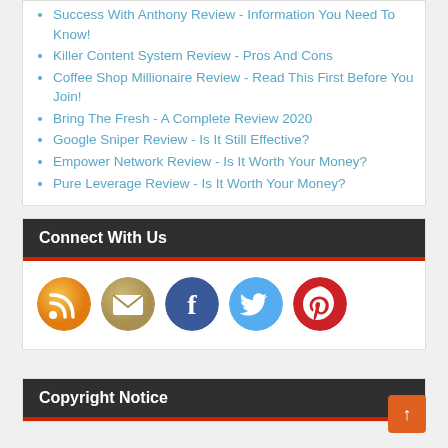Success With Anthony Review - Information You Need To Know!
Killer Content System Review - Pros And Cons
Coffee Shop Millionaire Review - Read This First Before You Join!
Bring The Fresh - A Complete Review 2020
Google Sniper Review - Is It Still Effective?
Empower Network Review - Is It Worth Your Money?
Pure Leverage Review - Is It Worth Your Money?
Connect With Us
[Figure (infographic): Five social media icons in circles: RSS (orange), Email (tan/gold), Facebook (dark blue), Twitter (light blue), Pinterest (red)]
Copyright Notice